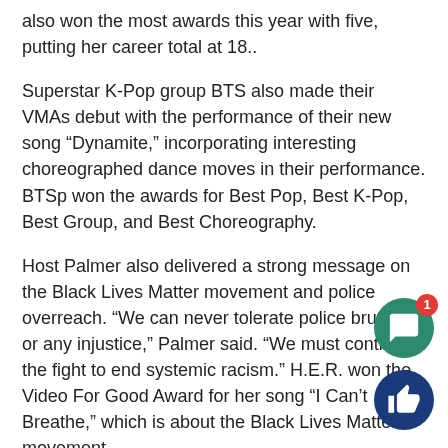also won the most awards this year with five, putting her career total at 18..
Superstar K-Pop group BTS also made their VMAs debut with the performance of their new song “Dynamite,” incorporating interesting choreographed dance moves in their performance. BTSp won the awards for Best Pop, Best K-Pop, Best Group, and Best Choreography.
Host Palmer also delivered a strong message on the Black Lives Matter movement and police overreach. “We can never tolerate police brutality or any injustice,” Palmer said. “We must continue the fight to end systemic racism.” H.E.R. won the Video For Good Award for her song “I Can’t Breathe,” which is about the Black Lives Matter movement.
In all, the 2020 MTV Video Music Awards honored the talented and hard working singers and performers that have grown loved by millions of fans all over the world. The music awards celebrate the uniqueness and diversity of the different artists and genres of music across the globe.